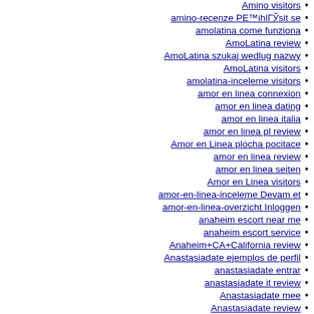Amino visitors
amino-recenze PE™ihlГЎsit se
amolatina come funziona
AmoLatina review
AmoLatina szukaj wedlug nazwy
AmoLatina visitors
amolatina-inceleme visitors
amor en linea connexion
amor en linea dating
amor en linea italia
amor en linea pl review
Amor en Linea plocha pocitace
amor en linea review
amor en linea seiten
Amor en Linea visitors
amor-en-linea-inceleme Devam et
amor-en-linea-overzicht Inloggen
anaheim escort near me
anaheim escort service
Anaheim+CA+California review
Anastasiadate ejemplos de perfil
anastasiadate entrar
anastasiadate it review
Anastasiadate mee
Anastasiadate review
anastasiadate Szukaj